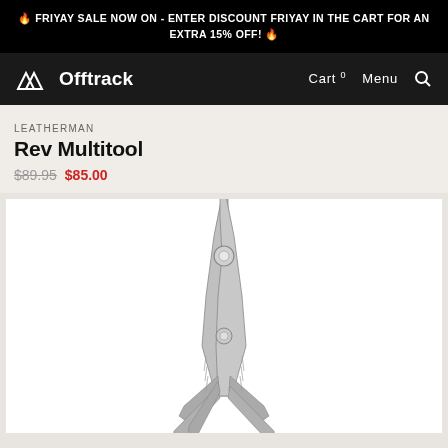🔥 FRIYAY SALE NOW ON - ENTER DISCOUNT FRIYAY IN THE CART FOR AN EXTRA 15% OFF! 🔥
Offtrack — Cart 0 | Menu | Search
LEATHERMAN
Rev Multitool
$89.95 $85.00
[Figure (photo): Leatherman Rev Multitool product photo showing stainless steel pliers-based multitool open with various tools fanning out, photographed against white background]